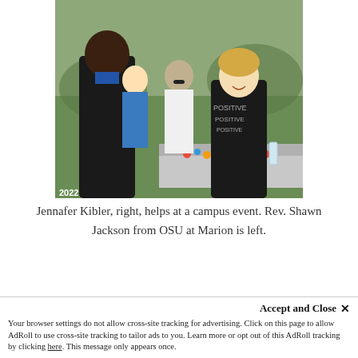[Figure (photo): Outdoor campus event photo showing several people around a table covered with colorful items. A person in a black suit stands on the left facing away from camera, a smiling young woman in a black 'Positive' t-shirt stands on the right behind the table, and other students are visible in the background on a grassy lawn.]
Jennafer Kibler, right, helps at a campus event. Rev. Shawn Jackson from OSU at Marion is left.
Jennafer is one of three high school students who graduated with their associate's degrees from MTC this spring before they gra...
Accept and Close ✕
Your browser settings do not allow cross-site tracking for advertising. Click on this page to allow AdRoll to use cross-site tracking to tailor ads to you. Learn more or opt out of this AdRoll tracking by clicking here. This message only appears once.